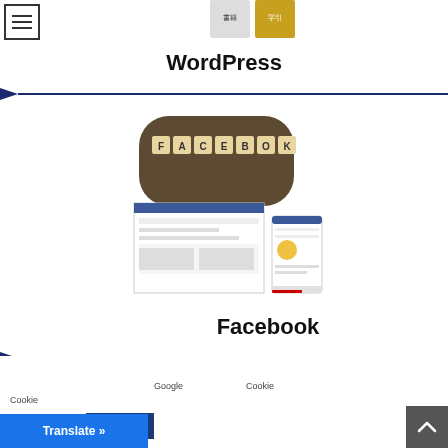[Figure (screenshot): Partial book/publication images visible at top center of page]
[Figure (illustration): Hamburger menu icon (three horizontal lines in a square border) at top left]
WordPress
[Figure (screenshot): Facebook themed WordPress website screenshot showing Facebook scrabble tiles image and website mockup on desktop and mobile]
Facebook
Google　　　　　　　Cookie　　　　　　　　　　　　　　Cookie
Cookie settings
Translate »